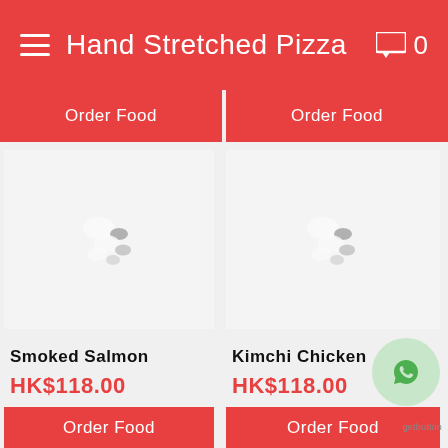Hand Stretched Pizza
Order Food
Order Food
[Figure (illustration): Loading spinner placeholder for Smoked Salmon product image]
Smoked Salmon
HK$118.00
Order Food
[Figure (illustration): Loading spinner placeholder for Kimchi Chicken product image]
Kimchi Chicken
HK$118.00
Order Food